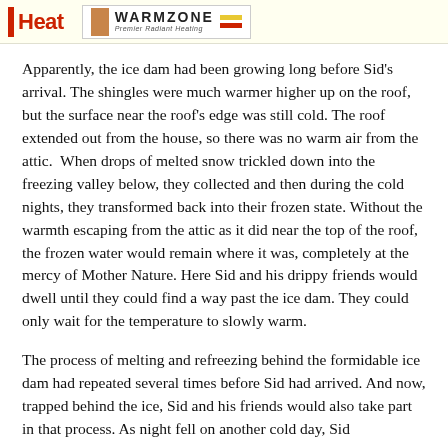Heat | WARMZONE Premier Radiant Heating
Apparently, the ice dam had been growing long before Sid's arrival. The shingles were much warmer higher up on the roof, but the surface near the roof's edge was still cold. The roof extended out from the house, so there was no warm air from the attic.  When drops of melted snow trickled down into the freezing valley below, they collected and then during the cold nights, they transformed back into their frozen state. Without the warmth escaping from the attic as it did near the top of the roof, the frozen water would remain where it was, completely at the mercy of Mother Nature. Here Sid and his drippy friends would dwell until they could find a way past the ice dam. They could only wait for the temperature to slowly warm.
The process of melting and refreezing behind the formidable ice dam had repeated several times before Sid had arrived. And now, trapped behind the ice, Sid and his friends would also take part in that process. As night fell on another cold day, Sid